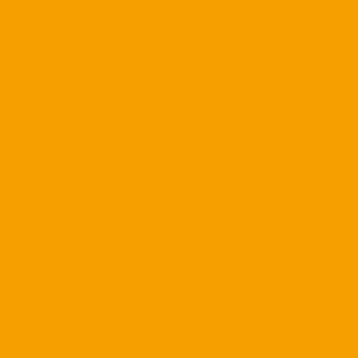Posted by: Go Canes | July 15, 201...
[Figure (illustration): Circular geometric pattern avatar image with concentric rings forming a flower/spiral design on a light blue-grey background]
Go, not sure how you conclu... developing talent (or anything... poor on game day.
Here's my translation. Result... stink.
How many years do you give... wins per year (2 to 3 of which...
Golden's ACC regular season... 3-5 last year, so there's no st...
If you like mediocre, he's you...
Posted by: Mountain Cane | J...
I'll respond to Mountain first.
He gets one year to show im... years given the contract.
Posted by: TonyCane | July 15, 201...